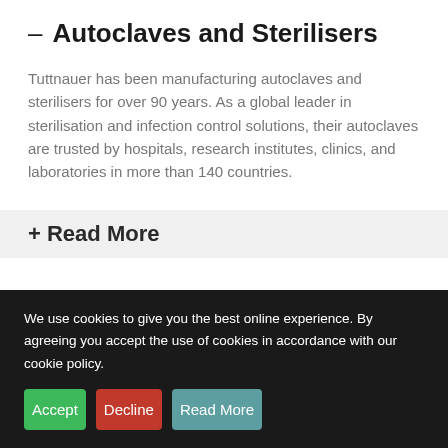– Autoclaves and Sterilisers
Tuttnauer has been manufacturing autoclaves and sterilisers for over 90 years. As a global leader in sterilisation and infection control solutions, their autoclaves are trusted by hospitals, research institutes, clinics, and laboratories in more than 140 countries.
+ Read More
We use cookies to give you the best online experience. By agreeing you accept the use of cookies in accordance with our cookie policy.
Accept
Decline
Read More